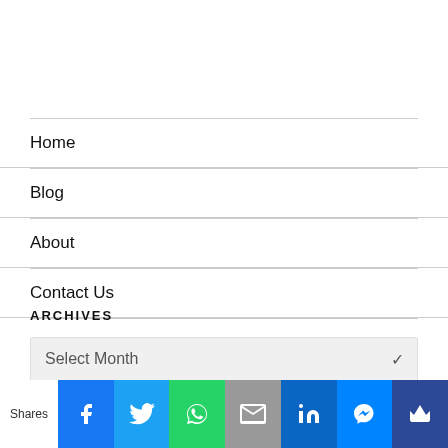Home
Blog
About
Contact Us
ARCHIVES
Select Month
Shares | Facebook | Twitter | WhatsApp | Email | LinkedIn | Messenger | Crown